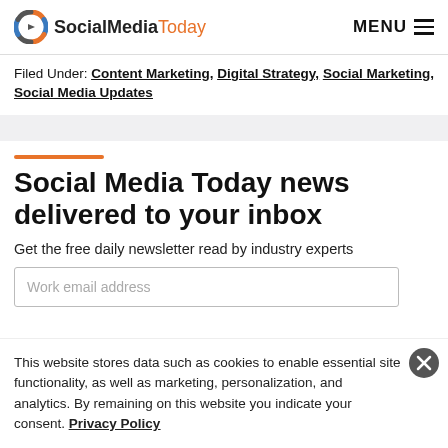SocialMediaToday | MENU
Filed Under: Content Marketing, Digital Strategy, Social Marketing, Social Media Updates
Social Media Today news delivered to your inbox
Get the free daily newsletter read by industry experts
Work email address
This website stores data such as cookies to enable essential site functionality, as well as marketing, personalization, and analytics. By remaining on this website you indicate your consent. Privacy Policy